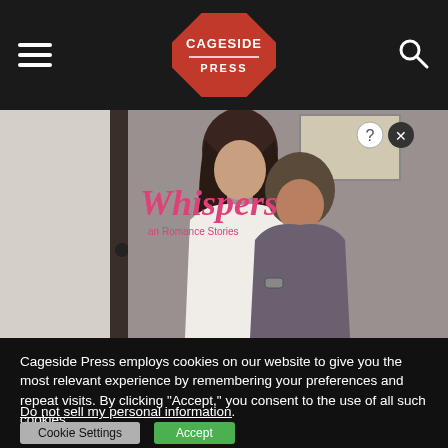Cageside Press
[Figure (photo): Advertisement banner for 'Whispers' romance stories app/service showing a couple in an intimate pose near a doorway. The image has a question mark and X button in the top right corner.]
Cageside Press employs cookies on our website to give you the most relevant experience by remembering your preferences and repeat visits. By clicking “Accept,” you consent to the use of all such cookies.
Do not sell my personal information.
Cookie Settings  Accept